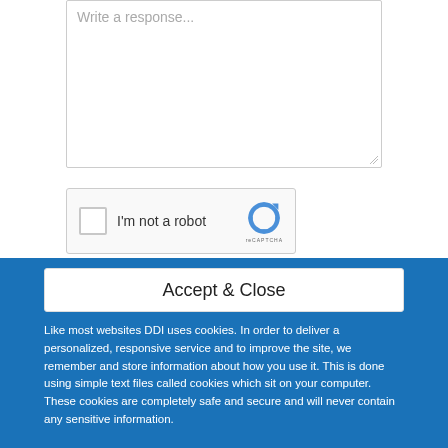Write a response...
[Figure (screenshot): reCAPTCHA widget with checkbox labeled 'I'm not a robot' and the reCAPTCHA logo]
Accept & Close
Like most websites DDI uses cookies. In order to deliver a personalized, responsive service and to improve the site, we remember and store information about how you use it. This is done using simple text files called cookies which sit on your computer. These cookies are completely safe and secure and will never contain any sensitive information.